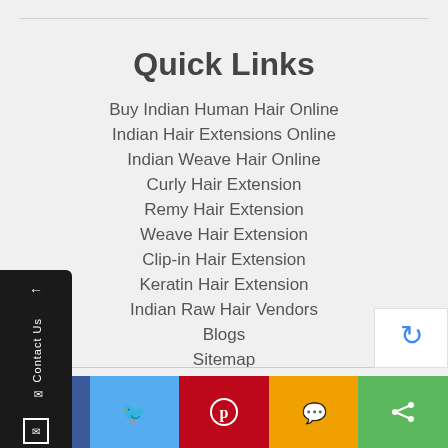Quick Links
Buy Indian Human Hair Online
Indian Hair Extensions Online
Indian Weave Hair Online
Curly Hair Extension
Remy Hair Extension
Weave Hair Extension
Clip-in Hair Extension
Keratin Hair Extension
Indian Raw Hair Vendors
Blogs
Sitemap
[Figure (screenshot): reCAPTCHA badge in bottom right corner]
[Figure (infographic): Social sharing bar with Facebook (blue), Twitter (light blue), Pinterest (red), SMS (yellow/orange), Share (green) buttons]